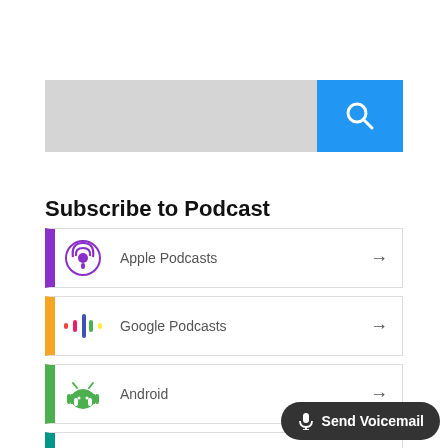[Figure (screenshot): Search bar with gray input field and blue search button with magnifying glass icon]
Subscribe to Podcast
Apple Podcasts
Google Podcasts
Android
by Email
[Figure (screenshot): Send Voicemail button with microphone icon in bottom right corner]